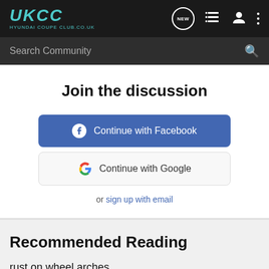UKCC HYUNDAI COUPE CLUB.CO.UK
Search Community
Join the discussion
Continue with Facebook
Continue with Google
or sign up with email
Recommended Reading
rust on wheel arches
Interior & Exterior Questions & Styling